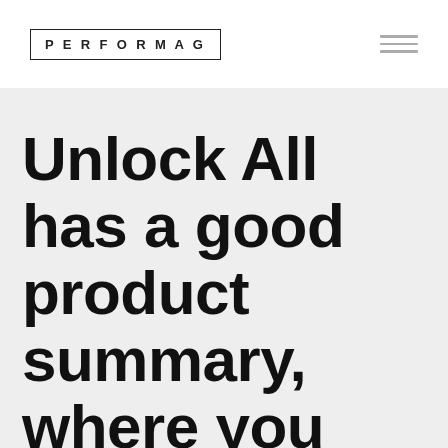PERFORMAG
Unlock All has a good product summary, where you can learn a little more about StayFit Unlock All